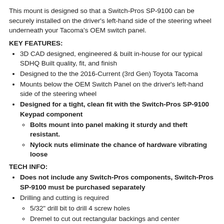This mount is designed so that a Switch-Pros SP-9100 can be securely installed on the driver's left-hand side of the steering wheel underneath your Tacoma's OEM switch panel.
KEY FEATURES:
3D CAD designed, engineered & built in-house for our typical SDHQ Built quality, fit, and finish
Designed to the the 2016-Current (3rd Gen) Toyota Tacoma
Mounts below the OEM Switch Panel on the driver's left-hand side of the steering wheel
Designed for a tight, clean fit with the Switch-Pros SP-9100 Keypad component
Bolts mount into panel making it sturdy and theft resistant.
Nylock nuts eliminate the chance of hardware vibrating loose
TECH INFO:
Does not include any Switch-Pros components, Switch-Pros SP-9100 must be purchased separately
Drilling and cutting is required
5/32" drill bit to drill 4 screw holes
Dremel to cut out rectangular backings and center